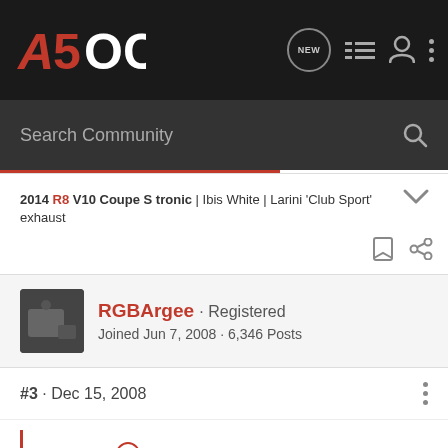A5OC · New · Menu · Profile · Options
Search Community
2014 R8 V10 Coupe S tronic | Ibis White | Larini 'Club Sport' exhaust
RGBArgee · Registered
Joined Jun 7, 2008 · 6,346 Posts
#3 · Dec 15, 2008
dom said:
Just got my s5, phantom black on star silver, beautiful car and over the moon, but less than a week old and my interior is not coping to